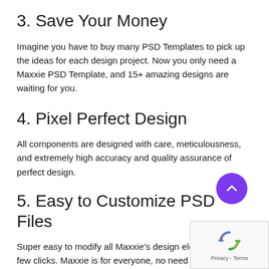3. Save Your Money
Imagine you have to buy many PSD Templates to pick up the ideas for each design project. Now you only need a Maxxie PSD Template, and 15+ amazing designs are waiting for you.
4. Pixel Perfect Design
All components are designed with care, meticulousness, and extremely high accuracy and quality assurance of perfect design.
5. Easy to Customize PSD Files
[Figure (illustration): Purple circular scroll-to-top button with an upward chevron arrow]
Super easy to modify all Maxxie’s design elements with a few clicks. Maxxie is for everyone, no need to have so m... design skills.
[Figure (screenshot): reCAPTCHA widget overlay in bottom-right corner with spinning arrows logo and Privacy/Terms text]